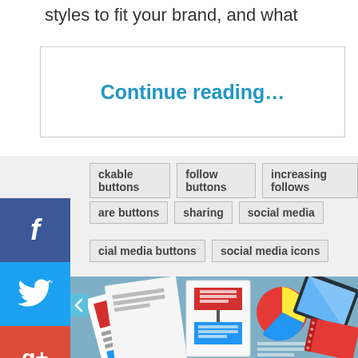styles to fit your brand, and what
Continue reading…
ckable buttons
follow buttons
increasing follows
are buttons
sharing
social media
cial media buttons
social media icons
[Figure (illustration): Flat design illustration showing business/data documents, a pie chart, a tablet device, and a red notebook on a blue-gray background]